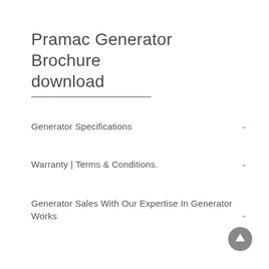Pramac Generator Brochure download
Generator Specifications
Warranty | Terms & Conditions.
Generator Sales With Our Expertise In Generator Works
[Figure (illustration): Circular scroll-to-top button with upward arrow icon, grey background]